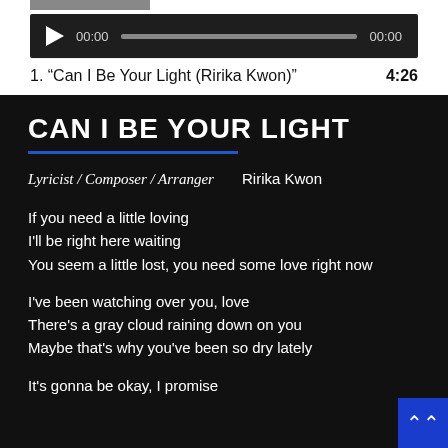[Figure (screenshot): Audio player widget showing a play button, progress bar at 00:00, and end time 00:00 on a dark background]
1. "Can I Be Your Light (Ririka Kwon)"   4:26
CAN I BE YOUR LIGHT
Lyricist / Composer / Arranger   Ririka Kwon
If you need a little loving
I'll be right here waiting
You seem a little lost, you need some love right now
I've been watching over you, love
There's a gray cloud raining down on you
Maybe that's why you've been so dry lately
It's gonna be okay, I promise